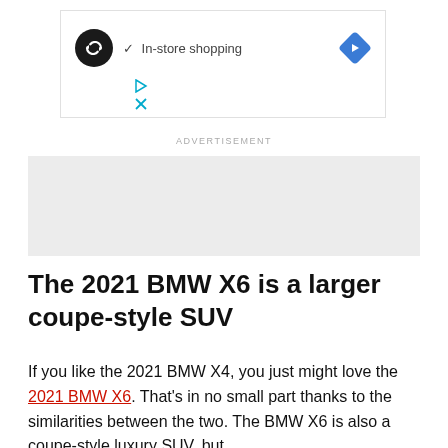[Figure (screenshot): Ad unit showing a business logo (black circle with infinity/loop icon), a checkmark with 'In-store shopping' text, a blue diamond navigation arrow, and play/close controls below.]
ADVERTISEMENT
[Figure (other): Gray advertisement placeholder box]
The 2021 BMW X6 is a larger coupe-style SUV
If you like the 2021 BMW X4, you just might love the 2021 BMW X6. That's in no small part thanks to the similarities between the two. The BMW X6 is also a coupe-style luxury SUV, but